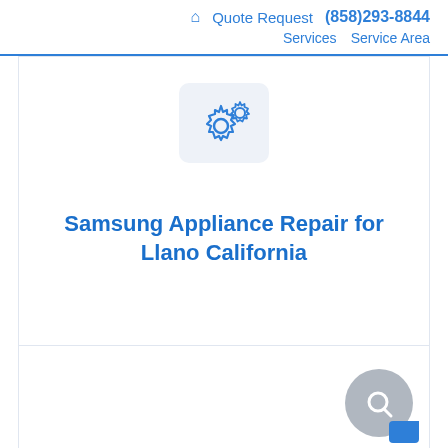🏠 Quote Request (858)293-8844 Services Service Area
[Figure (illustration): Gear/settings icon inside a light blue rounded square box]
Samsung Appliance Repair for Llano California
[Figure (illustration): Chat/support widget button in lower right corner, gray circle with white chat icon and blue tab]